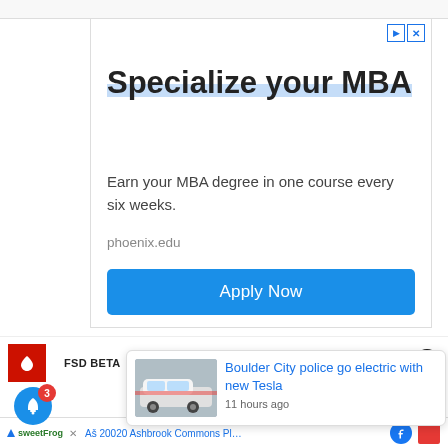[Figure (screenshot): Advertisement for University of Phoenix MBA program with headline 'Specialize your MBA', subtext 'Earn your MBA degree in one course every six weeks.', URL 'phoenix.edu', and blue 'Apply Now' button. Ad controls (play and X buttons) in top right corner.]
FSD BETA
FSD BETA CANADA
SAFETY SCORE
[Figure (screenshot): News popup card showing a Tesla police car image with headline 'Boulder City police go electric with new Tesla' and timestamp '11 hours ago']
20020 Ashbrook Commons Plaza, Ste .